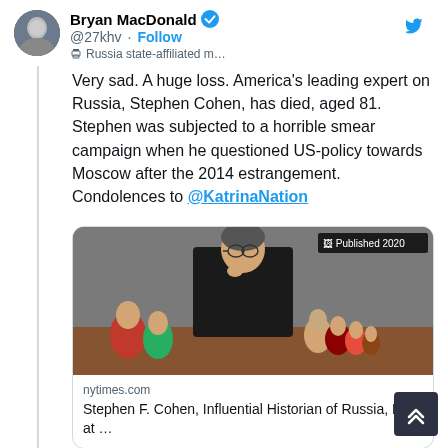Bryan MacDonald @27khv · Follow · Russia state-affiliated m…
Very sad. A huge loss. America's leading expert on Russia, Stephen Cohen, has died, aged 81. Stephen was subjected to a horrible smear campaign when he questioned US-policy towards Moscow after the 2014 estrangement. Condolences to @KatrinaNation
[Figure (photo): Photo of Stephen F. Cohen sitting behind a table with Russian matryoshka dolls, with overlay text 'Published 2020']
nytimes.com
Stephen F. Cohen, Influential Historian of Russia, Dies at …